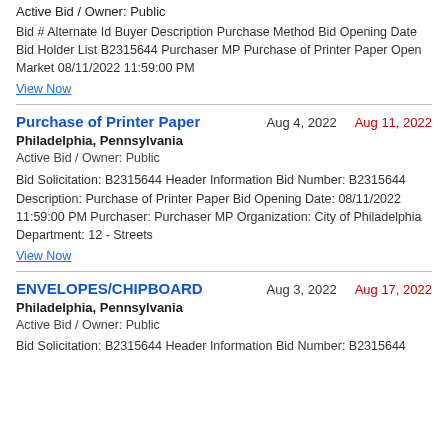Active Bid / Owner: Public
Bid # Alternate Id Buyer Description Purchase Method Bid Opening Date Bid Holder List B2315644 Purchaser MP Purchase of Printer Paper Open Market 08/11/2022 11:59:00 PM
View Now
Purchase of Printer Paper  Aug 4, 2022  Aug 11, 2022
Philadelphia, Pennsylvania
Active Bid / Owner: Public
Bid Solicitation: B2315644 Header Information Bid Number: B2315644 Description: Purchase of Printer Paper Bid Opening Date: 08/11/2022 11:59:00 PM Purchaser: Purchaser MP Organization: City of Philadelphia Department: 12 - Streets
View Now
ENVELOPES/CHIPBOARD  Aug 3, 2022  Aug 17, 2022
Philadelphia, Pennsylvania
Active Bid / Owner: Public
Bid Solicitation: B2315644 Header Information Bid Number: B2315644